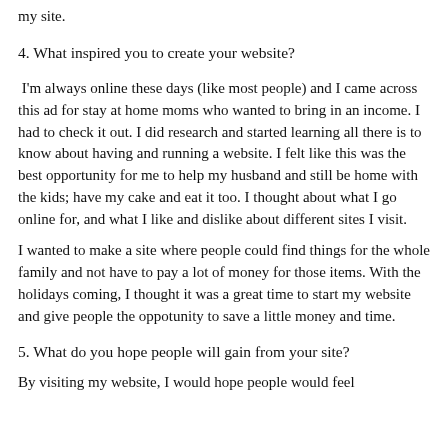my site.
4.  What inspired you to create your website?
I'm always online these days (like most people) and I came across this ad for stay at home moms who wanted to bring in an income. I had to check it out.  I did research and started learning all there is to know about having and running a website. I felt like this was the best opportunity for me to help my husband and still be home with the kids; have my cake and eat it too. I thought about what I go online for, and what I like and dislike about different sites I visit.
I wanted to make a site where people could find things for the whole family and not have to pay a lot of money for those items. With the holidays coming, I thought it was a great time to start my website and give people the oppotunity to save a little money and time.
5. What do you hope people will gain from your site?
By visiting my website, I would hope people would feel